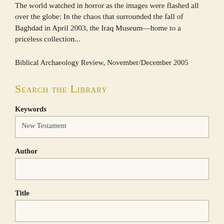The world watched in horror as the images were flashed all over the globe: In the chaos that surrounded the fall of Baghdad in April 2003, the Iraq Museum—home to a priceless collection...
Biblical Archaeology Review, November/December 2005
Search the Library
Keywords
New Testament
Author
Title
Bible Verses